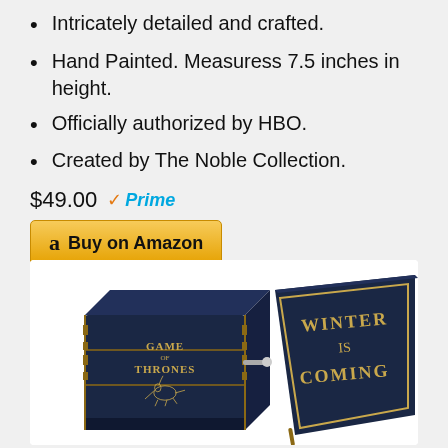Intricately detailed and crafted.
Hand Painted. Measuress 7.5 inches in height.
Officially authorized by HBO.
Created by The Noble Collection.
$49.00 ✓Prime
a Buy on Amazon
[Figure (photo): Two Game of Thrones music boxes shown. Left box is dark blue/black with gold 'GAME OF THRONES' text and direwolf sigil engraved, with a metal winding key. Right box lid shows 'WINTER IS COMING' in gold letters on dark background.]